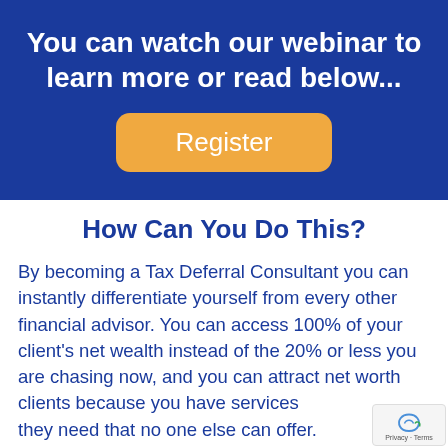You can watch our webinar to learn more or read below...
[Figure (other): Orange Register button with rounded corners on dark blue background]
How Can You Do This?
By becoming a Tax Deferral Consultant you can instantly differentiate yourself from every other financial advisor. You can access 100% of your client's net wealth instead of the 20% or less you are chasing now, and you can attract net worth clients because you have services they need that no one else can offer.